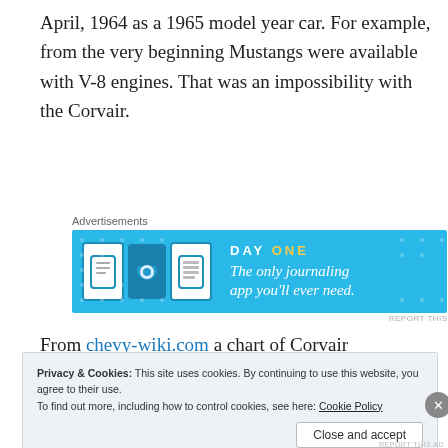April, 1964 as a 1965 model year car. For example, from the very beginning Mustangs were available with V-8 engines. That was an impossibility with the Corvair.
[Figure (other): Day One journaling app advertisement banner with blue background, app icons, and tagline 'The only journaling app you'll ever need.']
From chevy-wiki.com a chart of Corvair production figures:
Privacy & Cookies: This site uses cookies. By continuing to use this website, you agree to their use. To find out more, including how to control cookies, see here: Cookie Policy  Close and accept